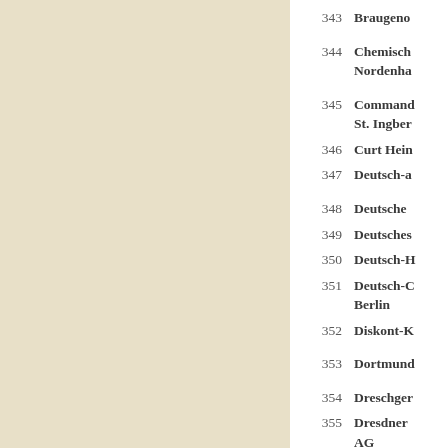343 Braugeno
344 Chemisch Nordenha
345 Command St. Ingber
346 Curt Hein
347 Deutsch-a
348 Deutsche
349 Deutsches
350 Deutsch-H
351 Deutsch-C Berlin
352 Diskont-K
353 Dortmund
354 Dreschger
355 Dresdner AG
356 Ederkreis
357 Engelhard
358 ...